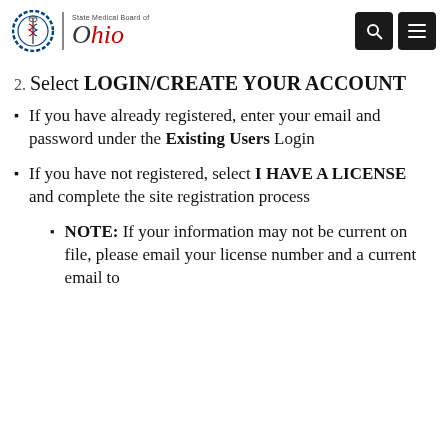State Medical Board of Ohio
2. Select LOGIN/CREATE YOUR ACCOUNT
If you have already registered, enter your email and password under the Existing Users Login
If you have not registered, select I HAVE A LICENSE and complete the site registration process
NOTE: If your information may not be current on file, please email your license number and a current email to